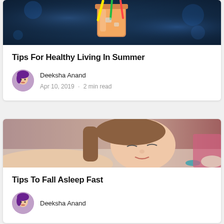[Figure (photo): Orange tropical cocktail drink with colorful straws in a glass jar, dark blue blurred background]
Tips For Healthy Living In Summer
Deeksha Anand
Apr 10, 2019 · 2 min read
[Figure (photo): Young woman with eyes closed lying down, resting or sleeping, brown hair, bracelet visible]
Tips To Fall Asleep Fast
Deeksha Anand